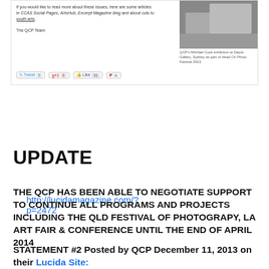[Figure (screenshot): Screenshot of a webpage showing text about CCAS Social Pages, ArtsHub, Excerpt Magazine blog and youth arts, with an image of Michael Cook exhibition at Depot Gallery, Sydney as part of Head On Photo Festival 2013, and social sharing buttons (Tweet 5, g+1 8, Like 31, Pin)]
http://lucidamagazine.com/?p=2472
UPDATE
THE QCP HAS BEEN ABLE TO NEGOTIATE SUPPORT TO CONTINUE ALL PROGRAMS AND PROJECTS INCLUDING THE QLD FESTIVAL OF PHOTOGRAPY, LA ART FAIR & CONFERENCE UNTIL THE END OF APRIL 2014
STATEMENT #2 Posted by QCP December 11, 2013 on their Lucida Site: